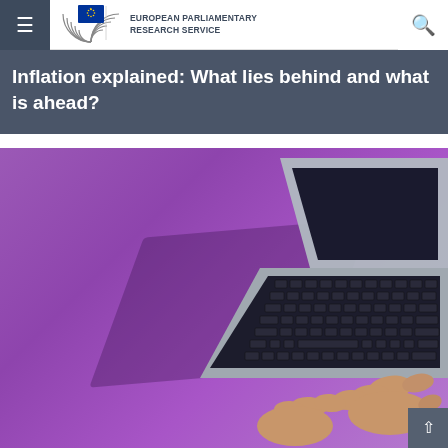European Parliamentary Research Service
Inflation explained: What lies behind and what is ahead?
[Figure (photo): Person's hands typing on a laptop keyboard placed on a purple background, photographed from above at an angle. The laptop is silver/grey with black keys.]